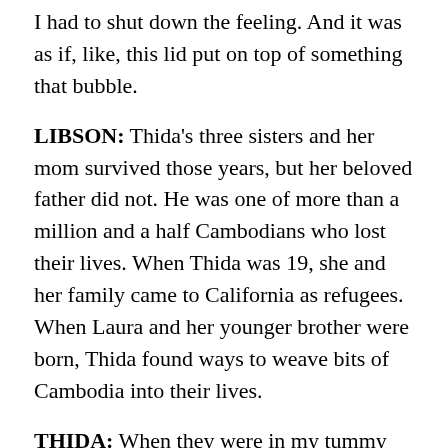I had to shut down the feeling. And it was as if, like, this lid put on top of something that bubble.
LIBSON: Thida's three sisters and her mom survived those years, but her beloved father did not. He was one of more than a million and a half Cambodians who lost their lives. When Thida was 19, she and her family came to California as refugees. When Laura and her younger brother were born, Thida found ways to weave bits of Cambodia into their lives.
THIDA: When they were in my tummy and when they just baby, I always sing a Khmer old lullaby. It go, (singing in Khmer). Like that, you know?
LIBSON: But neither Thida nor Laura felt a connection with the music that was coming out of the country. The Khmer Rouge had targeted and killed musicians, and the music